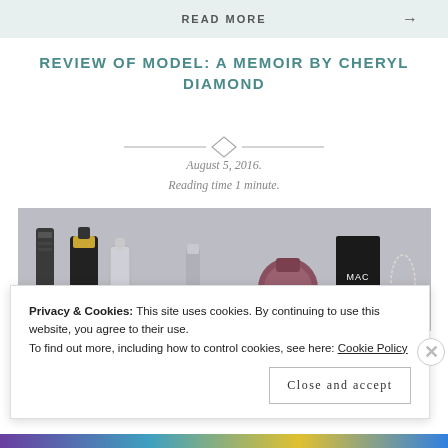READ MORE →
REVIEW OF MODEL: A MEMOIR BY CHERYL DIAMOND
August 5, 2016.
Reading time 1 minute.
[Figure (photo): Flat lay of fashion accessories and cosmetics including perfume bottles, a watch strap, lipstick, nail polish, and a MAC box on a grey fabric background]
Privacy & Cookies: This site uses cookies. By continuing to use this website, you agree to their use.
To find out more, including how to control cookies, see here: Cookie Policy
Close and accept